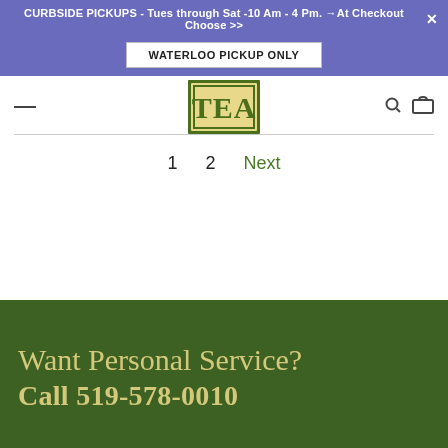CURBSIDE PICKUPS - Tues through Sat -10 Am - 4 Pm. →At Checkout Choose >>
WATERLOO PICKUP ONLY
[Figure (logo): TEA store logo — gold/yellow text 'TEA' on a cream background with dark green border]
1   2   Next
Want Personal Service?
Call 519-579-0010